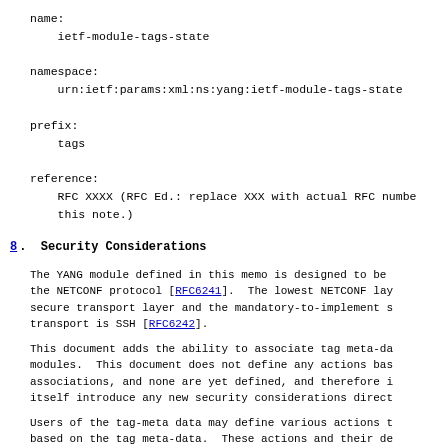name:
    ietf-module-tags-state

namespace:
    urn:ietf:params:xml:ns:yang:ietf-module-tags-state

prefix:
    tags

reference:
    RFC XXXX (RFC Ed.: replace XXX with actual RFC number and remove this note.)
8.  Security Considerations
The YANG module defined in this memo is designed to be used with the NETCONF protocol [RFC6241].  The lowest NETCONF layer is the secure transport layer and the mandatory-to-implement secure transport is SSH [RFC6242].
This document adds the ability to associate tag meta-data with modules.  This document does not define any actions based on these associations, and none are yet defined, and therefore it does not itself introduce any new security considerations directly.
Users of the tag-meta data may define various actions to be taken based on the tag meta-data.  These actions and their definitions are outside the scope of this document.  Users will need to consider security implications for actions they choose to take.